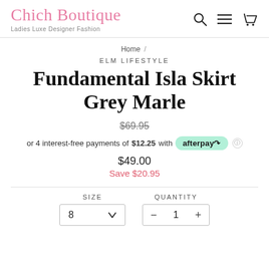Chich Boutique — Ladies Luxe Designer Fashion
Home / ELM LIFESTYLE
Fundamental Isla Skirt Grey Marle
$69.95 (original price, struck through)
or 4 interest-free payments of $12.25 with afterpay
$49.00 Save $20.95